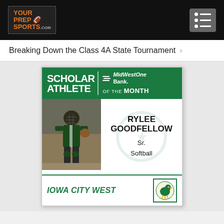YOUR PREP SPORTS .com
Breaking Down the Class 4A State Tournament
[Figure (infographic): Scholar Athlete of the Month card featuring Rylee Goodfellow, Sr., Softball, Iowa City West, sponsored by MidWestOne Bank.]